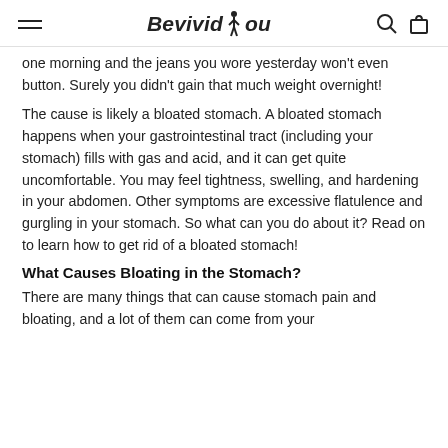Be Vivid You
one morning and the jeans you wore yesterday won't even button. Surely you didn't gain that much weight overnight!
The cause is likely a bloated stomach. A bloated stomach happens when your gastrointestinal tract (including your stomach) fills with gas and acid, and it can get quite uncomfortable. You may feel tightness, swelling, and hardening in your abdomen. Other symptoms are excessive flatulence and gurgling in your stomach. So what can you do about it? Read on to learn how to get rid of a bloated stomach!
What Causes Bloating in the Stomach?
There are many things that can cause stomach pain and bloating, and a lot of them can come from your